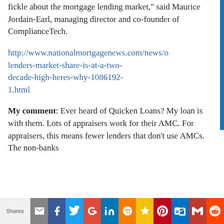fickle about the mortgage lending market," said Maurice Jordain-Earl, managing director and co-founder of ComplianceTech.
http://www.nationalmortgagenews.com/news/origination/non-bank-lenders-market-share-is-at-a-two-decade-high-heres-why-1086192-1.html
My comment: Ever heard of Quicken Loans? My loan is with them. Lots of appraisers work for their AMC. For appraisers, this means fewer lenders that don't use AMCs. The non-banks
Shares [email] [facebook] [twitter] [google+] [linkedin] [blogger] [star] [pinterest] [outlook] [gmail] [reddit]